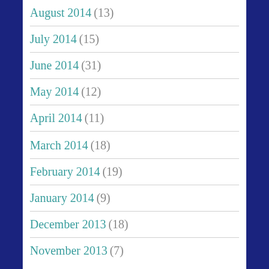August 2014 (13)
July 2014 (15)
June 2014 (31)
May 2014 (12)
April 2014 (11)
March 2014 (18)
February 2014 (19)
January 2014 (9)
December 2013 (18)
November 2013 (7)